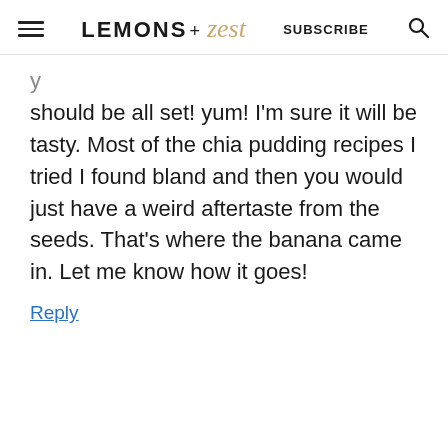LEMONS + zest  SUBSCRIBE
should be all set! yum! I'm sure it will be tasty. Most of the chia pudding recipes I tried I found bland and then you would just have a weird aftertaste from the seeds. That's where the banana came in. Let me know how it goes!
Reply